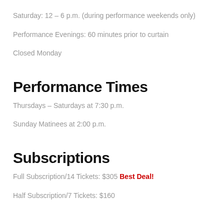Saturday: 12 – 6 p.m. (during performance weekends only)
Performance Evenings: 60 minutes prior to curtain
Closed Monday
Performance Times
Thursdays – Saturdays at 7:30 p.m.
Sunday Matinees at 2:00 p.m.
Subscriptions
Full Subscription/14 Tickets: $305 Best Deal!
Half Subscription/7 Tickets: $160